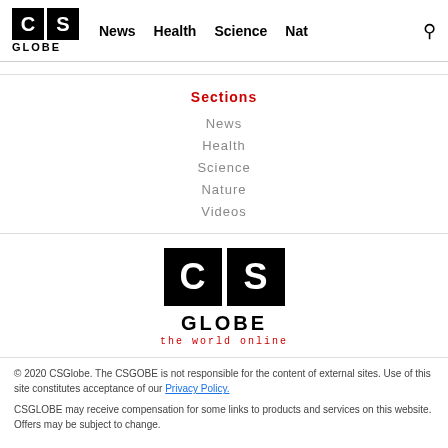CS GLOBE | News | Health | Science | Nat | Search
Sections
News
Health
Science
Nature
Videos
[Figure (logo): CS GLOBE logo with two black squares containing C and S, GLOBE text below, tagline 'the world online' in red monospace]
© 2020 CSGlobe. The CSGOBE is not responsible for the content of external sites. Use of this site constitutes acceptance of our Privacy Policy. CSGLOBE may receive compensation for some links to products and services on this website. Offers may be subject to change.